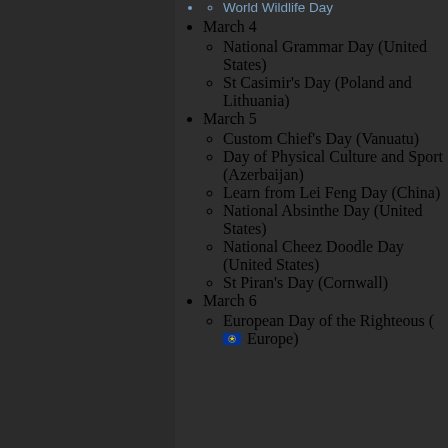World Wildlife Day
March 4
National Grammar Day (United States)
St Casimir's Day (Poland and Lithuania)
March 5
Custom Chief's Day (Vanuatu)
Day of Physical Culture and Sport (Azerbaijan)
Learn from Lei Feng Day (China)
National Absinthe Day (United States)
National Cheez Doodle Day (United States)
St Piran's Day (Cornwall)
March 6
European Day of the Righteous ( Europe)